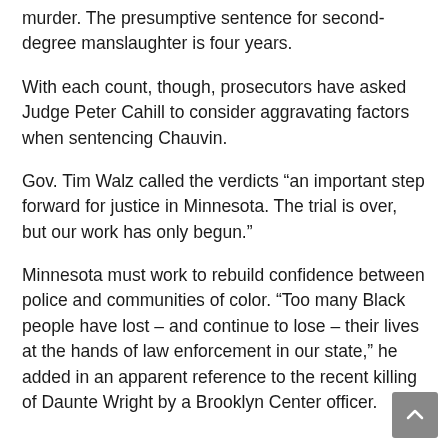murder. The presumptive sentence for second-degree manslaughter is four years.
With each count, though, prosecutors have asked Judge Peter Cahill to consider aggravating factors when sentencing Chauvin.
Gov. Tim Walz called the verdicts “an important step forward for justice in Minnesota. The trial is over, but our work has only begun.”
Minnesota must work to rebuild confidence between police and communities of color. “Too many Black people have lost – and continue to lose – their lives at the hands of law enforcement in our state,” he added in an apparent reference to the recent killing of Daunte Wright by a Brooklyn Center officer.